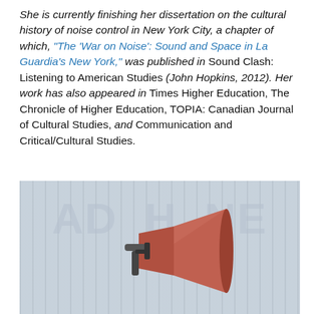She is currently finishing her dissertation on the cultural history of noise control in New York City, a chapter of which, "The 'War on Noise': Sound and Space in La Guardia's New York," was published in Sound Clash: Listening to American Studies (John Hopkins, 2012). Her work has also appeared in Times Higher Education, The Chronicle of Higher Education, TOPIA: Canadian Journal of Cultural Studies, and Communication and Critical/Cultural Studies.
[Figure (photo): A photograph of a red megaphone/bullhorn against a blurred background with large text letters visible (appears to say something with letters A, D, H, N, E visible). The megaphone is mounted on a pole or stand.]